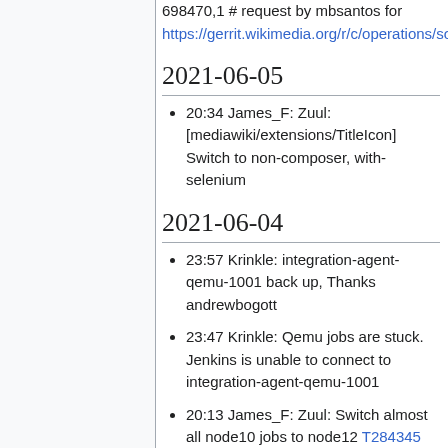698470,1 # request by mbsantos for https://gerrit.wikimedia.org/r/c/operations/software/tegola/+/698470
2021-06-05
20:34 James_F: Zuul: [mediawiki/extensions/TitleIcon] Switch to non-composer, with-selenium
2021-06-04
23:57 Krinkle: integration-agent-qemu-1001 back up, Thanks andrewbogott
23:47 Krinkle: Qemu jobs are stuck. Jenkins is unable to connect to integration-agent-qemu-1001
20:13 James_F: Zuul: Switch almost all node10 jobs to node12 T284345